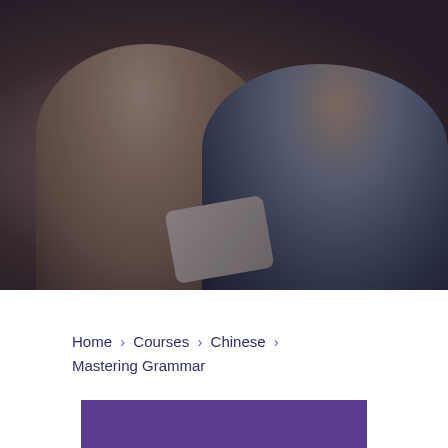[Figure (photo): Two older adults (man and woman) smiling and looking at a tablet together, sitting on a couch. The image has a dark overlay tint.]
Home > Courses > Chinese > Mastering Grammar
[Figure (other): Purple/violet rectangular bar at the bottom of the page]